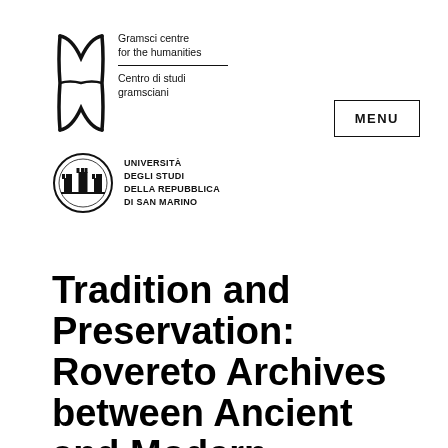[Figure (logo): Gramsci centre for the humanities / Centro di studi gramsciani logo with stylized symbol and text]
[Figure (logo): Università degli Studi della Repubblica di San Marino circular seal logo]
MENU
Tradition and Preservation: Rovereto Archives between Ancient and Modern (Rovereto, March 1-2,